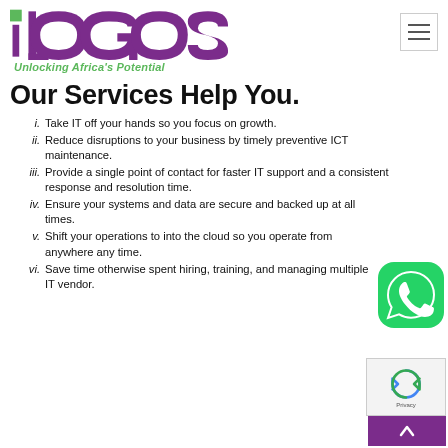[Figure (logo): Logos company logo in purple with green square dot on the i, and green italic tagline 'Unlocking Africa's Potential']
Our Services Help You.
Take IT off your hands so you focus on growth.
Reduce disruptions to your business by timely preventive ICT maintenance.
Provide a single point of contact for faster IT support and a consistent response and resolution time.
Ensure your systems and data are secure and backed up at all times.
Shift your operations to into the cloud so you operate from anywhere any time.
Save time otherwise spent hiring, training, and managing multiple IT vendor.